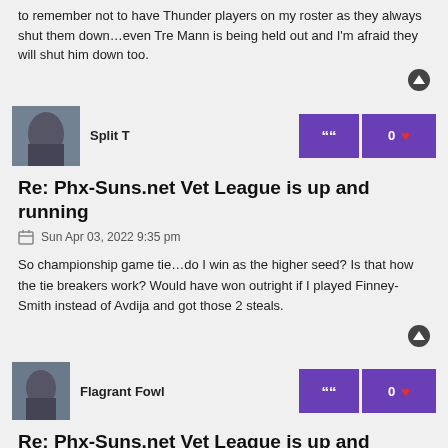to remember not to have Thunder players on my roster as they always shut them down…even Tre Mann is being held out and I'm afraid they will shut him down too.
Split T
Re: Phx-Suns.net Vet League is up and running
Sun Apr 03, 2022 9:35 pm
So championship game tie…do I win as the higher seed? Is that how the tie breakers work? Would have won outright if I played Finney-Smith instead of Avdija and got those 2 steals.
Flagrant Fowl
Re: Phx-Suns.net Vet League is up and running
Mon Apr 04, 2022 12:43 am
Congrats to SplitT who narrowly pulled out a win in the championship week, coming back from a 5-3 deficit to win on a 4-4 tiebreaker. As the league winner, you will be first to select your draft position next season.